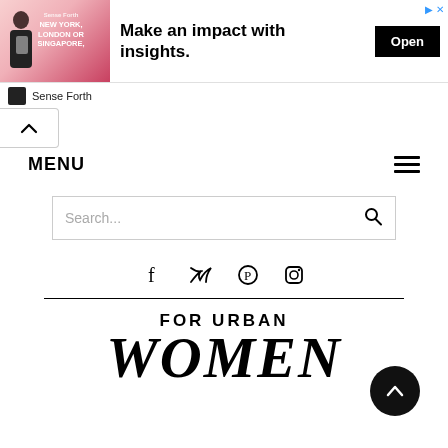[Figure (screenshot): Advertisement banner: man with tablet, text 'NEW YORK, LONDON OR SINGAPORE', headline 'Make an impact with insights.', Open button, close icons]
Sense Forth
[Figure (other): Collapse/chevron up button]
MENU
[Figure (other): Hamburger menu icon]
Search...
[Figure (other): Social media icons: Facebook, Twitter, Pinterest, Instagram]
FOR URBAN WOMEN
[Figure (other): Back to top button (circle with chevron up)]